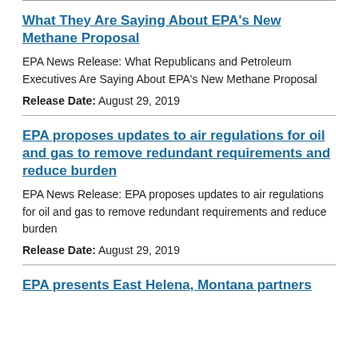What They Are Saying About EPA's New Methane Proposal
EPA News Release: What Republicans and Petroleum Executives Are Saying About EPA's New Methane Proposal
Release Date: August 29, 2019
EPA proposes updates to air regulations for oil and gas to remove redundant requirements and reduce burden
EPA News Release: EPA proposes updates to air regulations for oil and gas to remove redundant requirements and reduce burden
Release Date: August 29, 2019
EPA presents East Helena, Montana partners